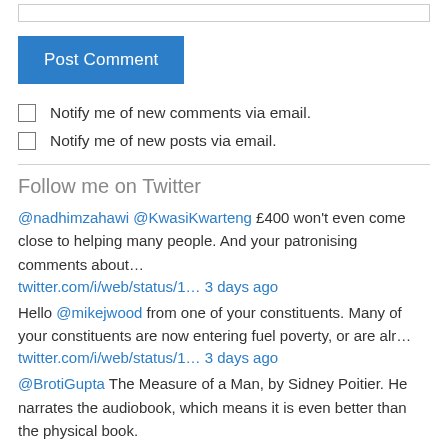[Figure (other): Text input bar (form field)]
Post Comment
Notify me of new comments via email.
Notify me of new posts via email.
Follow me on Twitter
@nadhimzahawi @KwasiKwarteng £400 won't even come close to helping many people. And your patronising comments about…
twitter.com/i/web/status/1… 3 days ago
Hello @mikejwood from one of your constituents. Many of your constituents are now entering fuel poverty, or are alr…
twitter.com/i/web/status/1… 3 days ago
@BrotiGupta The Measure of a Man, by Sidney Poitier. He narrates the audiobook, which means it is even better than the physical book.